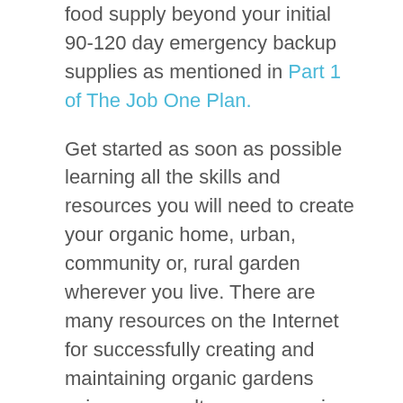food supply beyond your initial 90-120 day emergency backup supplies as mentioned in Part 1 of The Job One Plan.
Get started as soon as possible learning all the skills and resources you will need to create your organic home, urban, community or, rural garden wherever you live. There are many resources on the Internet for successfully creating and maintaining organic gardens using permaculture, aquaponics or, hydroponics to create your own long-term food supplies.
Planting and maintaining a garden also can save money on food bills and it reconnects us with the true value of food. Garden creation, as well as other kinds of personal food-producing activities, will be essential to your long-term survival wherever you end up!